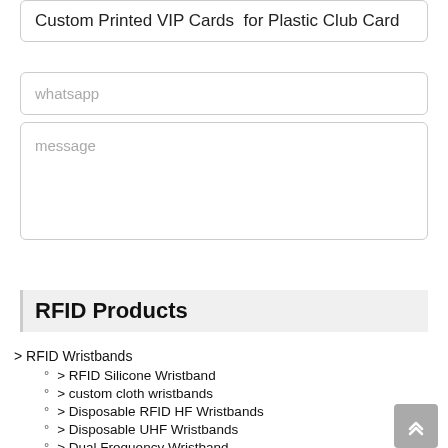Custom Printed VIP Cards  for Plastic Club Card
whatsapp
message
Submit
RFID Products
> RFID Wristbands
> RFID Silicone Wristband
> custom cloth wristbands
> Disposable RFID HF Wristbands
> Disposable UHF Wristbands
> Dual Frequency Wristband
> Nylon RFID Wristband
> RFID Plastic Wristband